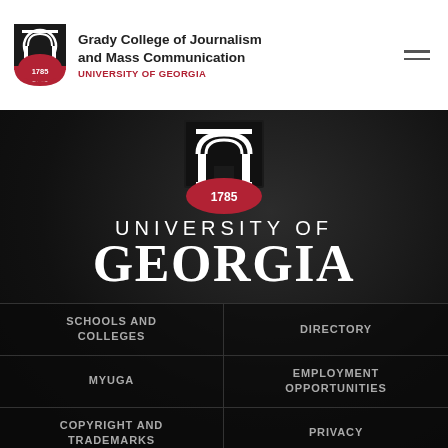[Figure (logo): Grady College of Journalism and Mass Communication, University of Georgia header logo with shield]
Grady College of Journalism and Mass Communication
UNIVERSITY OF GEORGIA
[Figure (logo): University of Georgia arch shield logo centered, black background with 1785]
UNIVERSITY OF GEORGIA
SCHOOLS AND COLLEGES
DIRECTORY
MYUGA
EMPLOYMENT OPPORTUNITIES
COPYRIGHT AND TRADEMARKS
PRIVACY